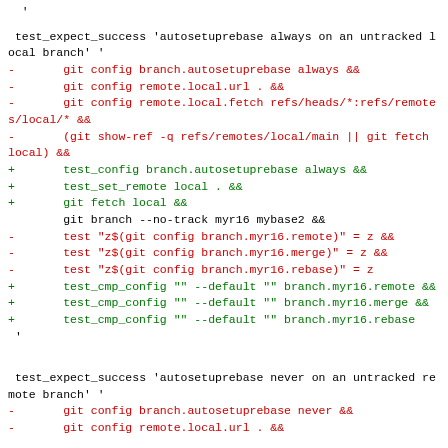'
test_expect_success 'autosetuprebase always on an untracked local branch' '
-       git config branch.autosetuprebase always &&
-       git config remote.local.url . &&
-       git config remote.local.fetch refs/heads/*:refs/remotes/local/* &&
-       (git show-ref -q refs/remotes/local/main || git fetch local) &&
+       test_config branch.autosetuprebase always &&
+       test_set_remote local . &&
+       git fetch local &&
        git branch --no-track myr16 mybase2 &&
-       test "z$(git config branch.myr16.remote)" = z &&
-       test "z$(git config branch.myr16.merge)" = z &&
-       test "z$(git config branch.myr16.rebase)" = z
+       test_cmp_config "" --default "" branch.myr16.remote &&
+       test_cmp_config "" --default "" branch.myr16.merge &&
+       test_cmp_config "" --default "" branch.myr16.rebase
 '
test_expect_success 'autosetuprebase never on an untracked remote branch' '
-       git config branch.autosetuprebase never &&
-       git config remote.local.url . &&